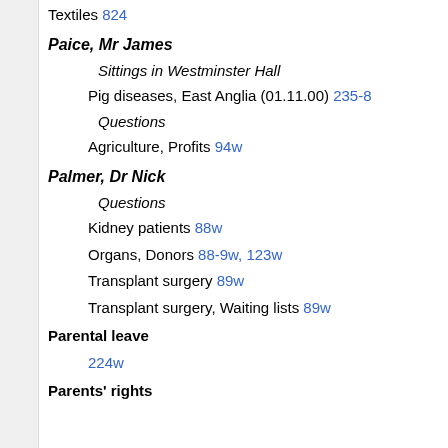Textiles 824
Paice, Mr James
Sittings in Westminster Hall
Pig diseases, East Anglia (01.11.00) 235-8
Questions
Agriculture, Profits 94w
Palmer, Dr Nick
Questions
Kidney patients 88w
Organs, Donors 88-9w, 123w
Transplant surgery 89w
Transplant surgery, Waiting lists 89w
Parental leave
224w
Parents' rights